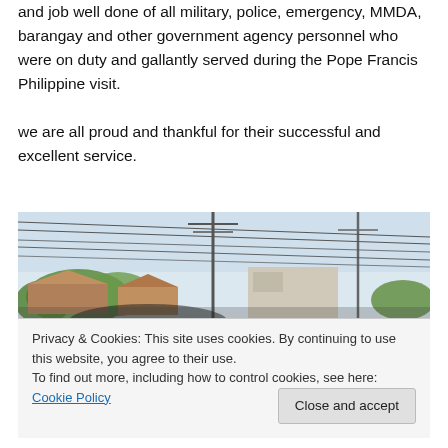we are all impressed and we do appreciate the dedication and job well done of all military, police, emergency, MMDA, barangay and other government agency personnel who were on duty and gallantly served during the Pope Francis Philippine visit.

we are all proud and thankful for their successful and excellent service.
[Figure (photo): Outdoor street scene with utility poles, power lines, trees, rooftops, and a partly cloudy sky.]
Privacy & Cookies: This site uses cookies. By continuing to use this website, you agree to their use.
To find out more, including how to control cookies, see here: Cookie Policy